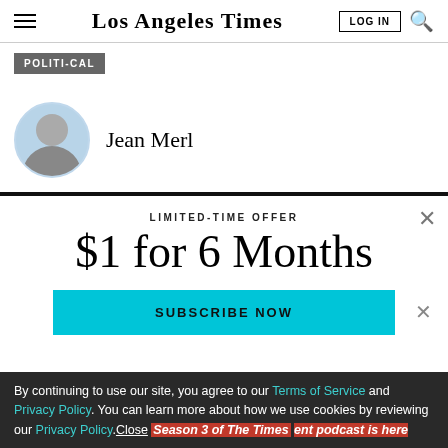Los Angeles Times
POLITI-CAL
Jean Merl
LIMITED-TIME OFFER
$1 for 6 Months
SUBSCRIBE NOW
By continuing to use our site, you agree to our Terms of Service and Privacy Policy. You can learn more about how we use cookies by reviewing our Privacy Policy. Close
Season 3 of The Times entertainment podcast is here